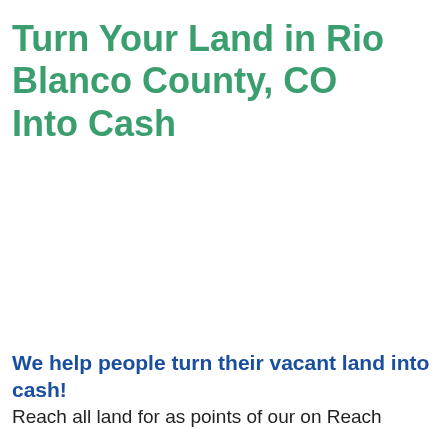Turn Your Land in Rio Blanco County, CO Into Cash
We help people turn their vacant land into cash!
Reach all land for as points of our on Reach...